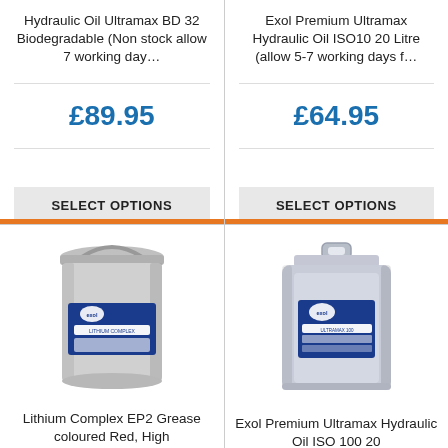Hydraulic Oil Ultramax BD 32 Biodegradable (Non stock allow 7 working day…
£89.95
SELECT OPTIONS
Exol Premium Ultramax Hydraulic Oil ISO10 20 Litre (allow 5-7 working days f…
£64.95
SELECT OPTIONS
[Figure (photo): Silver metal grease tin with blue Exol Lithium Complex label]
Lithium Complex EP2 Grease coloured Red, High
[Figure (photo): Blue/grey plastic 20-litre canister with Exol Ultramax label]
Exol Premium Ultramax Hydraulic Oil ISO 100 20